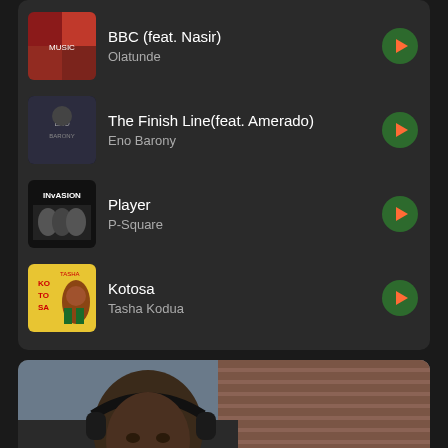BBC (feat. Nasir) — Olatunde
The Finish Line(feat. Amerado) — Eno Barony
Player — P-Square
Kotosa — Tasha Kodua
[Figure (photo): Person wearing black over-ear headphones, looking down, outdoors with brick wall background]